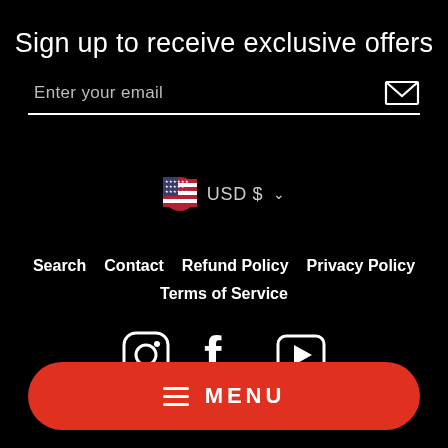Sign up to receive exclusive offers
Enter your email
USD $
Search
Contact
Refund Policy
Privacy Policy
Terms of Service
[Figure (other): Social media icons: Instagram, Facebook, YouTube]
MENU